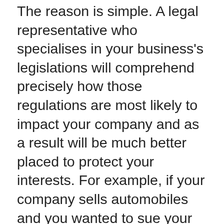The reason is simple. A legal representative who specialises in your business's legislations will comprehend precisely how those regulations are most likely to impact your company and as a result will be much better placed to protect your interests. For example, if your company sells automobiles and you wanted to sue your rival for breach of warranty, the outcome might be exceptionally negative for your company, forcing you to close your doors. Click this website and discover more about this service. Nonetheless, must the maker go out of business, you will certainly have the right to sue them for violation of warranty as well as might also have the ability to file a claim against the dealership under state law. Must your company be sued for supposed violations of guarantees, it can indicate a substantial financial loss for your firm. As an example, a cars and truck dealer might be required to close its doors as a result of being sued for violation of guarantee, or the manufacturer of a specific auto component may